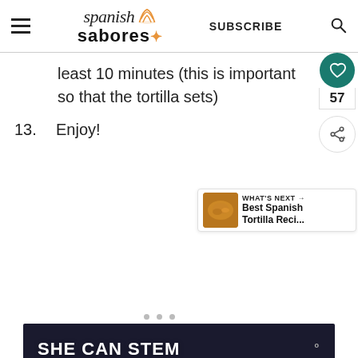spanish sabores | SUBSCRIBE
least 10 minutes (this is important so that the tortilla sets)
13. Enjoy!
[Figure (infographic): Social sidebar with heart icon button (teal), count 57, and share button]
[Figure (infographic): What's next card showing a food thumbnail and text: WHAT'S NEXT → Best Spanish Tortilla Reci...]
[Figure (infographic): Three pagination dots]
[Figure (screenshot): Dark advertisement banner reading SHE CAN STEM with a logo on the right]